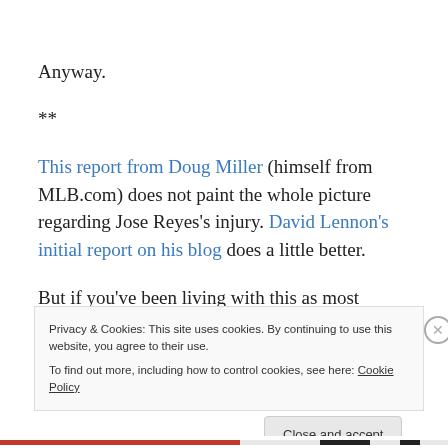Anyway.
**
This report from Doug Miller (himself from MLB.com) does not paint the whole picture regarding Jose Reyes's injury. David Lennon's initial report on his blog does a little better.
But if you've been living with this as most ardent followers have, the best I can do is give you the lowdown as
Privacy & Cookies: This site uses cookies. By continuing to use this website, you agree to their use.
To find out more, including how to control cookies, see here: Cookie Policy
Close and accept